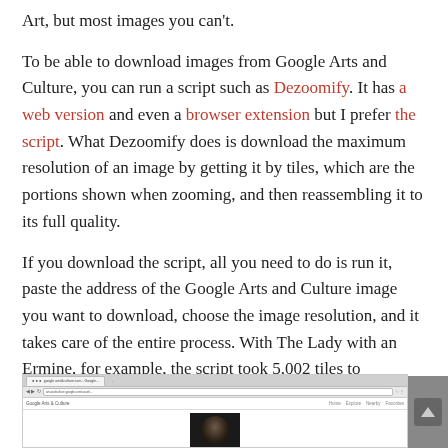Art, but most images you can't.
To be able to download images from Google Arts and Culture, you can run a script such as Dezoomify. It has a web version and even a browser extension but I prefer the script. What Dezoomify does is download the maximum resolution of an image by getting it by tiles, which are the portions shown when zooming, and then reassembling it to its full quality.
If you download the script, all you need to do is run it, paste the address of the Google Arts and Culture image you want to download, choose the image resolution, and it takes care of the entire process. With The Lady with an Ermine, for example, the script took 5,002 tiles to download a 30,894 pixels x 41,545 pixels JPEG image with a total file size of 114 mb.
[Figure (screenshot): Screenshot of a browser window showing Google Arts and Culture website with a dark image thumbnail visible at the bottom]